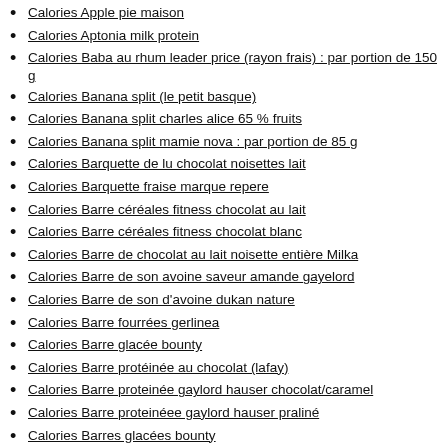Calories Apple pie maison
Calories Aptonia milk protein
Calories Baba au rhum leader price (rayon frais) : par portion de 150 g
Calories Banana split (le petit basque)
Calories Banana split charles alice 65 % fruits
Calories Banana split mamie nova : par portion de 85 g
Calories Barquette de lu chocolat noisettes lait
Calories Barquette fraise marque repere
Calories Barre céréales fitness chocolat au lait
Calories Barre céréales fitness chocolat blanc
Calories Barre de chocolat au lait noisette entière Milka
Calories Barre de son avoine saveur amande gayelord
Calories Barre de son d'avoine dukan nature
Calories Barre fourrées gerlinea
Calories Barre glacée bounty
Calories Barre protéinée au chocolat (lafay)
Calories Barre proteinée gaylord hauser chocolat/caramel
Calories Barre proteinéee gaylord hauser praliné
Calories Barres glacées bounty